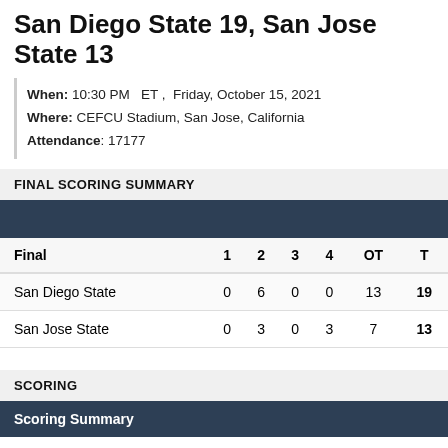San Diego State 19, San Jose State 13
When: 10:30 PM   ET ,  Friday, October 15, 2021
Where: CEFCU Stadium, San Jose, California
Attendance: 17177
FINAL SCORING SUMMARY
| Final | 1 | 2 | 3 | 4 | OT | T |
| --- | --- | --- | --- | --- | --- | --- |
| San Diego State | 0 | 6 | 0 | 0 | 13 | 19 |
| San Jose State | 0 | 3 | 0 | 3 | 7 | 13 |
SCORING
Scoring Summary